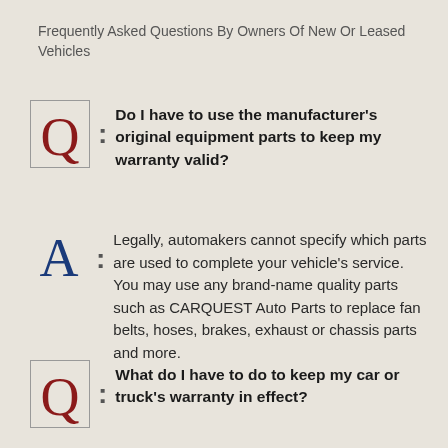Frequently Asked Questions By Owners Of New Or Leased Vehicles
Q: Do I have to use the manufacturer's original equipment parts to keep my warranty valid?
A: Legally, automakers cannot specify which parts are used to complete your vehicle's service. You may use any brand-name quality parts such as CARQUEST Auto Parts to replace fan belts, hoses, brakes, exhaust or chassis parts and more.
Q: What do I have to do to keep my car or truck's warranty in effect?